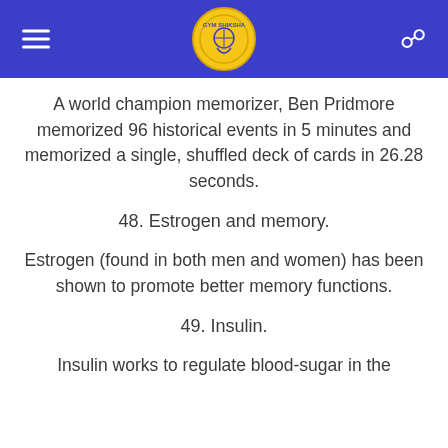GYM SHIKSHA [logo with menu and search]
A world champion memorizer, Ben Pridmore memorized 96 historical events in 5 minutes and memorized a single, shuffled deck of cards in 26.28 seconds.
48. Estrogen and memory.
Estrogen (found in both men and women) has been shown to promote better memory functions.
49. Insulin.
Insulin works to regulate blood-sugar in the